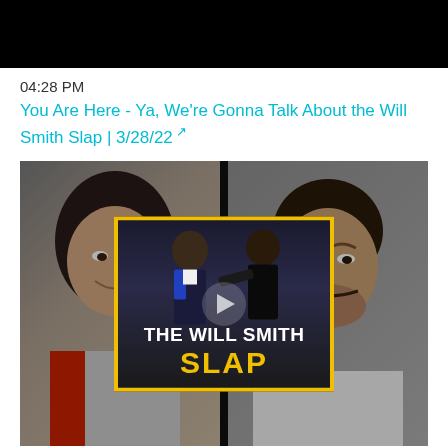[Figure (screenshot): Black video player thumbnail at top of page]
04:28 PM
You Are Here - Ya, We're Gonna Talk About the Will Smith Slap | 3/28/22 🔗
[Figure (photo): Podcast thumbnail image showing a woman on the left with surprised expression, a man on the right with skeptical expression, and a center overlay image showing two men at the Oscars with text 'THE WILL SMITH SLAP' in white and yellow letters, surrounded by a yellow border]